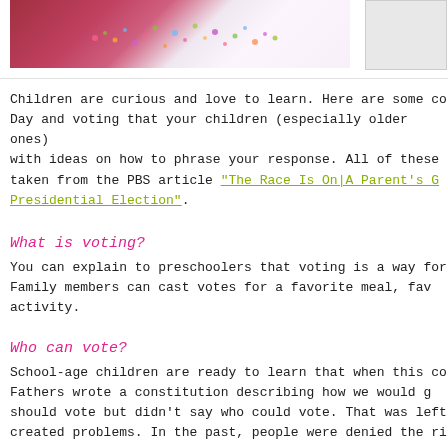[Figure (photo): A photo of a child's bedroom/craft area with pink/magenta bedding and a floral patterned fabric or project, partially cropped at the top of the page. A smaller secondary image is partially visible at the top right.]
Children are curious and love to learn. Here are some conversation starters about Election Day and voting that your children (especially older ones) may ask, along with ideas on how to phrase your response. All of these suggestions were taken from the PBS article "The Race Is On|A Parent's Guide to the Presidential Election".
What is voting?
You can explain to preschoolers that voting is a way for a group to make a decision. Family members can cast votes for a favorite meal, favorite movie, or favorite activity.
Who can vote?
School-age children are ready to learn that when this country was founded, the Founding Fathers wrote a constitution describing how we would govern ourselves. It said people should vote but didn't say who could vote. That was left to the states to decide and created problems. In the past, people were denied the ri...